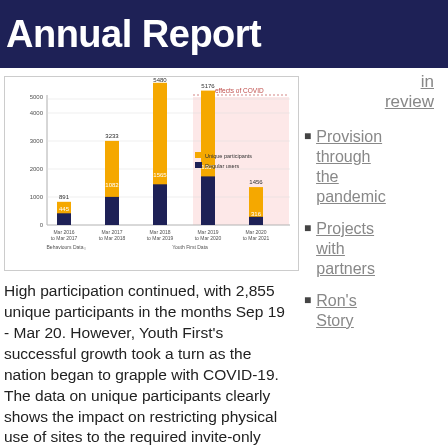Annual Report
[Figure (grouped-bar-chart): Unique participants and Regular users by year]
High participation continued, with 2,855 unique participants in the months Sep 19 - Mar 20. However, Youth First's successful growth took a turn as the nation began to grapple with COVID-19. The data on unique participants clearly shows the impact on restricting physical use of sites to the required invite-only
in review
Provision through the pandemic
Projects with partners
Ron's Story